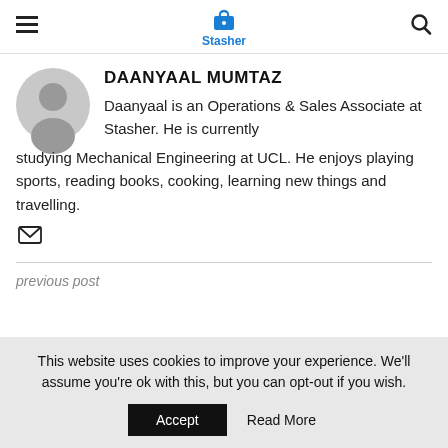Stasher
DAANYAAL MUMTAZ
Daanyaal is an Operations & Sales Associate at Stasher. He is currently studying Mechanical Engineering at UCL. He enjoys playing sports, reading books, cooking, learning new things and travelling.
previous post
This website uses cookies to improve your experience. We'll assume you're ok with this, but you can opt-out if you wish. Accept Read More